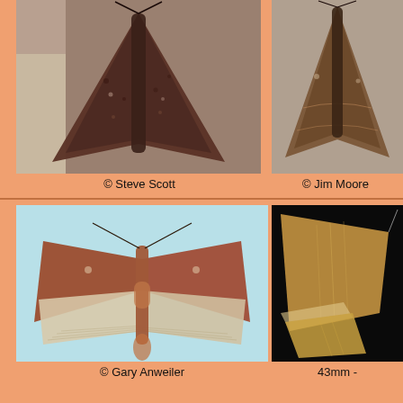[Figure (photo): Moth specimen photographed from above, dark brown/reddish-brown wings in resting position against grey textured background. Photo credit Steve Scott.]
© Steve Scott
[Figure (photo): Moth specimen photographed from above, medium brown wings with subtle markings against light grey background. Photo credit Jim Moore.]
© Jim Moore
[Figure (photo): Moth specimen photographed with wings spread open showing dorsal view, reddish-brown forewings and pale cream/white hindwings, against light blue background. Photo credit Gary Anweiler.]
© Gary Anweiler
[Figure (photo): Close-up of moth wing specimens against black background showing golden/tan coloration with wing venation visible.]
43mm -